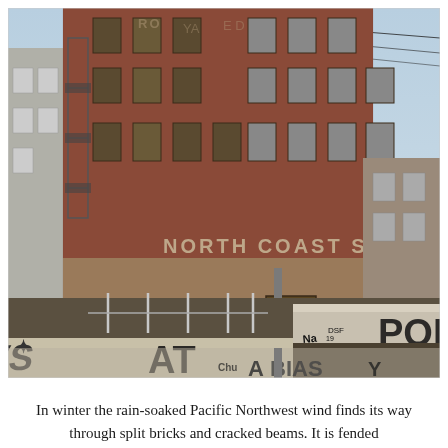[Figure (photo): Photograph of an old multi-story brick industrial building with faded sign reading 'NORTH COAST SE...' on its facade. In the foreground are railway tracks and concrete barriers/walls covered in graffiti tags including 'POK', 'NAFFER', and other tags. The building has multiple windows, fire escapes, and shows signs of age and weathering.]
In winter the rain-soaked Pacific Northwest wind finds its way through split bricks and cracked beams. It is fended